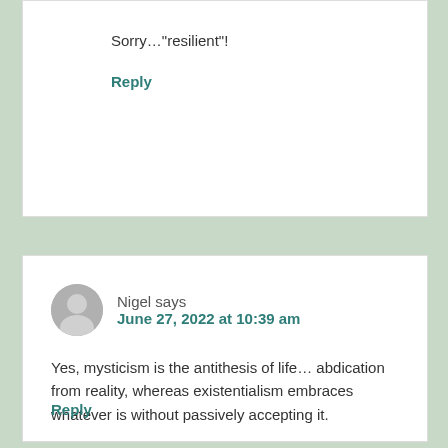Sorry…“resilient”!
Reply
Nigel says
June 27, 2022 at 10:39 am
Yes, mysticism is the antithesis of life… abdication from reality, whereas existentialism embraces whatever is without passively accepting it.
Reply